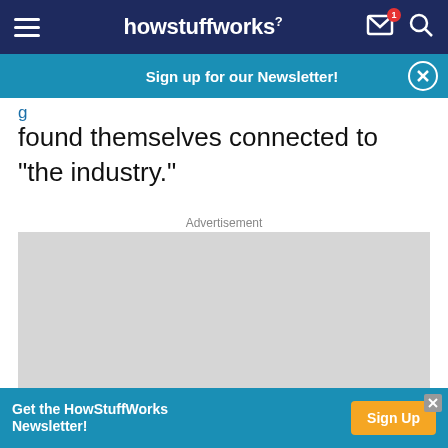howstuffworks
Sign up for our Newsletter!
found themselves connected to "the industry."
Advertisement
[Figure (other): Grey advertisement placeholder box]
Get the HowStuffWorks Newsletter! Sign Up